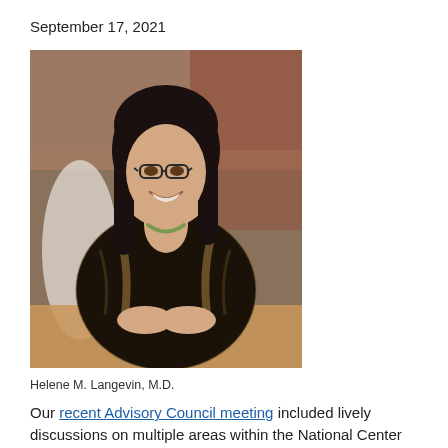September 17, 2021
[Figure (photo): Portrait photo of Helene M. Langevin, M.D., a woman with dark hair and glasses, wearing a black top and dark floral/ornate jacket, seated at a table, smiling at the camera.]
Helene M. Langevin, M.D.
Our recent Advisory Council meeting included lively discussions on multiple areas within the National Center for Complementary and Integrative Health (NCCIH) research portfolio, including nutrition and well-being,